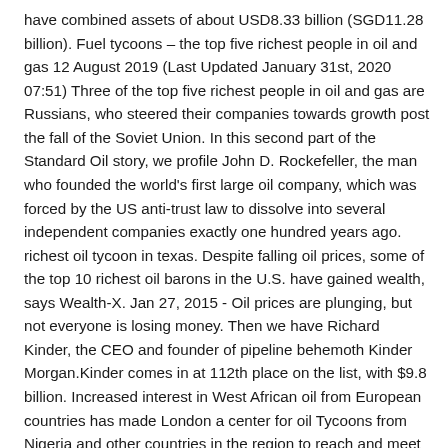have combined assets of about USD8.33 billion (SGD11.28 billion). Fuel tycoons – the top five richest people in oil and gas 12 August 2019 (Last Updated January 31st, 2020 07:51) Three of the top five richest people in oil and gas are Russians, who steered their companies towards growth post the fall of the Soviet Union. In this second part of the Standard Oil story, we profile John D. Rockefeller, the man who founded the world's first large oil company, which was forced by the US anti-trust law to dissolve into several independent companies exactly one hundred years ago. richest oil tycoon in texas. Despite falling oil prices, some of the top 10 richest oil barons in the U.S. have gained wealth, says Wealth-X. Jan 27, 2015 - Oil prices are plunging, but not everyone is losing money. Then we have Richard Kinder, the CEO and founder of pipeline behemoth Kinder Morgan.Kinder comes in at 112th place on the list, with $9.8 billion. Increased interest in West African oil from European countries has made London a center for oil Tycoons from Nigeria and other countries in the region to reach and meet